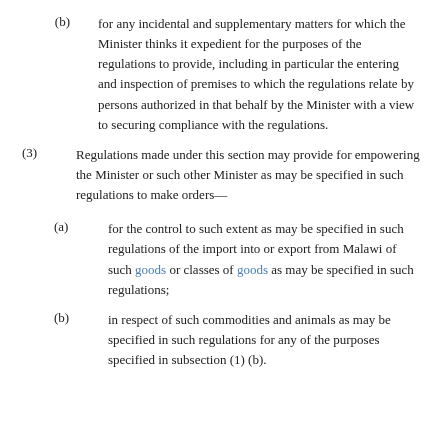(b) for any incidental and supplementary matters for which the Minister thinks it expedient for the purposes of the regulations to provide, including in particular the entering and inspection of premises to which the regulations relate by persons authorized in that behalf by the Minister with a view to securing compliance with the regulations.
(3) Regulations made under this section may provide for empowering the Minister or such other Minister as may be specified in such regulations to make orders—
(a) for the control to such extent as may be specified in such regulations of the import into or export from Malawi of such goods or classes of goods as may be specified in such regulations;
(b) in respect of such commodities and animals as may be specified in such regulations for any of the purposes specified in subsection (1) (b).